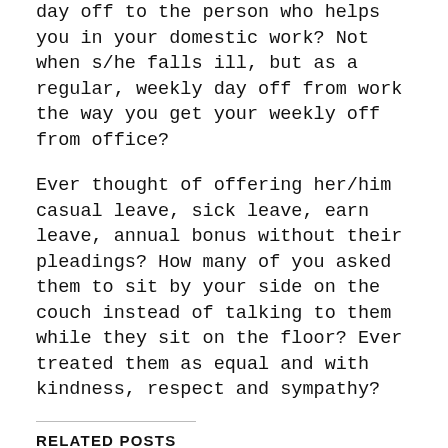day off to the person who helps you in your domestic work? Not when s/he falls ill, but as a regular, weekly day off from work the way you get your weekly off from office?
Ever thought of offering her/him casual leave, sick leave, earn leave, annual bonus without their pleadings? How many of you asked them to sit by your side on the couch instead of talking to them while they sit on the floor? Ever treated them as equal and with kindness, respect and sympathy?
RELATED POSTS
CBI reaches Bolpur house of Anubrata Mondal, daughter…
Aug 17, 2022
ED likely to interrogate Partha Chatterjee in